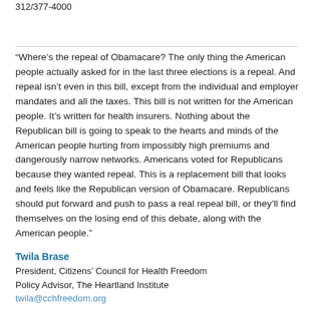312/377-4000
“Where’s the repeal of Obamacare? The only thing the American people actually asked for in the last three elections is a repeal. And repeal isn’t even in this bill, except from the individual and employer mandates and all the taxes. This bill is not written for the American people. It’s written for health insurers. Nothing about the Republican bill is going to speak to the hearts and minds of the American people hurting from impossibly high premiums and dangerously narrow networks. Americans voted for Republicans because they wanted repeal. This is a replacement bill that looks and feels like the Republican version of Obamacare. Republicans should put forward and push to pass a real repeal bill, or they’ll find themselves on the losing end of this debate, along with the American people.”
Twila Brase
President, Citizens’ Council for Health Freedom
Policy Advisor, The Heartland Institute
twila@cchfreedom.org